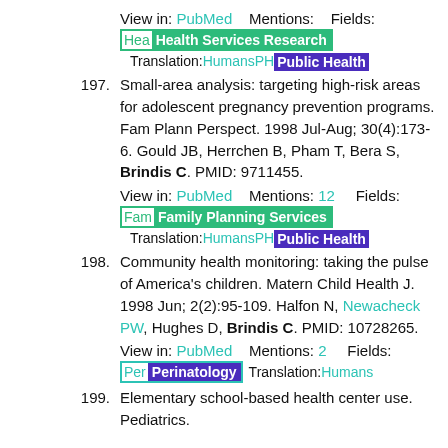View in: PubMed    Mentions:     Fields:
Hea[Health Services Research]
Translation:HumansPH[Public Health]
197. Small-area analysis: targeting high-risk areas for adolescent pregnancy prevention programs. Fam Plann Perspect. 1998 Jul-Aug; 30(4):173-6. Gould JB, Herrchen B, Pham T, Bera S, Brindis C. PMID: 9711455.
View in: PubMed    Mentions: 12     Fields:
Fam[Family Planning Services]
Translation:HumansPH[Public Health]
198. Community health monitoring: taking the pulse of America's children. Matern Child Health J. 1998 Jun; 2(2):95-109. Halfon N, Newacheck PW, Hughes D, Brindis C. PMID: 10728265.
View in: PubMed    Mentions: 2     Fields:
Per[Perinatology]   Translation:Humans
199. Elementary school-based health center use. Pediatrics.